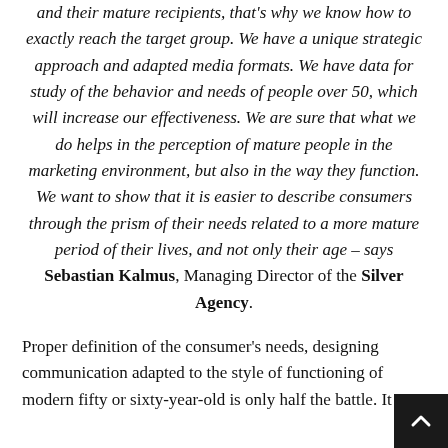At Silver Agency, we think about the needs of our clients and their mature recipients, that's why we know how to exactly reach the target group. We have a unique strategic approach and adapted media formats. We have data for study of the behavior and needs of people over 50, which will increase our effectiveness. We are sure that what we do helps in the perception of mature people in the marketing environment, but also in the way they function. We want to show that it is easier to describe consumers through the prism of their needs related to a more mature period of their lives, and not only their age – says Sebastian Kalmus, Managing Director of the Silver Agency.
Proper definition of the consumer's needs, designing communication adapted to the style of functioning of modern fifty or sixty-year-old is only half the battle. It i...